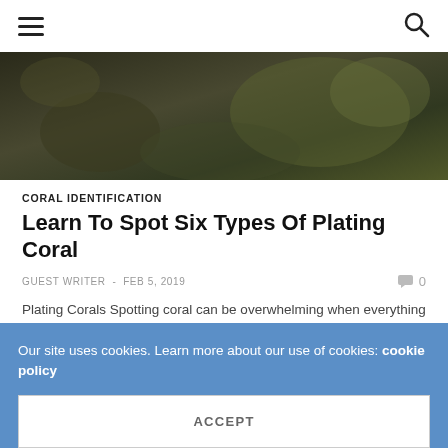≡  🔍
[Figure (photo): Dark underwater coral reef photograph, greenish-brown tones]
CORAL IDENTIFICATION
Learn To Spot Six Types Of Plating Coral
GUEST WRITER  -  FEB 5, 2019    💬 0
Plating Corals Spotting coral can be overwhelming when everything looks the same. However, learning to recognize corals based on growth forms in the easiest way to master the art of coral spotting. Plating corals are found in all reef habitats…
Our site uses cookies. Learn more about our use of cookies: cookie policy
ACCEPT